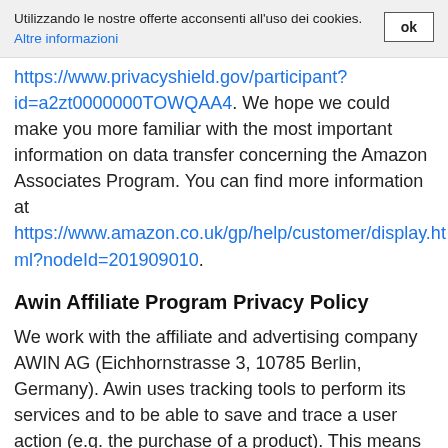Utilizzando le nostre offerte acconsenti all'uso dei cookies. Altre informazioni ok
https://www.privacyshield.gov/participant?id=a2zt0000000TOWQAA4. We hope we could make you more familiar with the most important information on data transfer concerning the Amazon Associates Program. You can find more information at https://www.amazon.co.uk/gp/help/customer/display.html?nodeId=201909010.
Awin Affiliate Program Privacy Policy
We work with the affiliate and advertising company AWIN AG (Eichhornstrasse 3, 10785 Berlin, Germany). Awin uses tracking tools to perform its services and to be able to save and trace a user action (e.g. the purchase of a product). This means that your data will also be sent to the company in pseudonymised form where it will then be stored. In this privacy policy, we want to explain